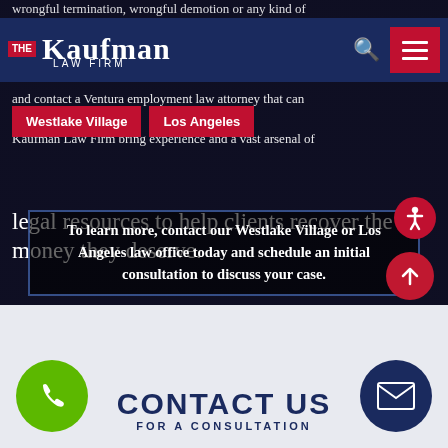wrongful termination, wrongful demotion or any kind of and contact a Ventura employment law attorney that can help. Attorneys team at The Kaufman Law Firm bring experience and a vast arsenal of legal resources to help clients recover the money they deserve.
[Figure (logo): The Kaufman Law Firm logo with navigation bar including search icon and hamburger menu]
[Figure (other): Two location buttons: Westlake Village and Los Angeles in red/crimson]
To learn more, contact our Westlake Village or Los Angeles law office today and schedule an initial consultation to discuss your case.
[Figure (other): Accessibility icon button (round red with person icon)]
[Figure (other): Scroll to top button (round red with up arrow)]
[Figure (other): Phone button (round green with phone icon)]
CONTACT US FOR A CONSULTATION
[Figure (other): Email button (round navy with envelope icon)]